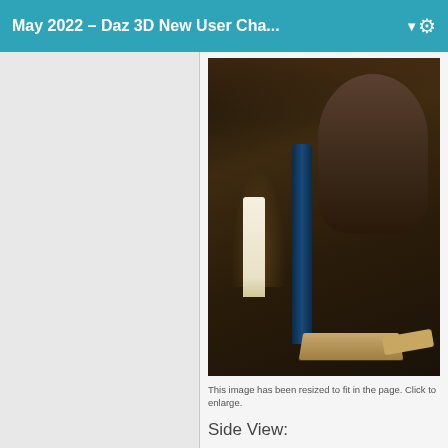May 2022 – Daz 3D New User Cha...
[Figure (illustration): A dark, atmospheric 3D rendered scene showing a female figure in a dimly lit medieval-style setting. A tall blue glass bottle stands in the foreground, with a white candle nearby and an open book on the table. Warm candlelight illuminates parts of the scene.]
This image has been resized to fit in the page. Click to enlarge.
Side View: